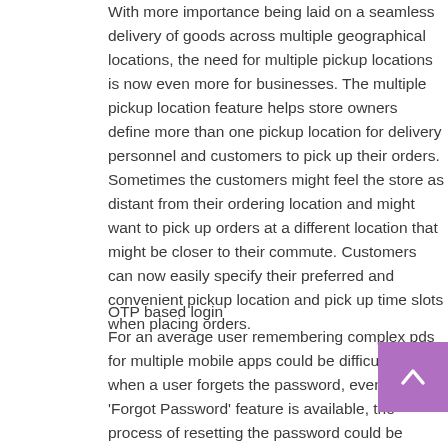With more importance being laid on a seamless delivery of goods across multiple geographical locations, the need for multiple pickup locations is now even more for businesses. The multiple pickup location feature helps store owners define more than one pickup location for delivery personnel and customers to pick up their orders. Sometimes the customers might feel the store as distant from their ordering location and might want to pick up orders at a different location that might be closer to their commute. Customers can now easily specify their preferred and convenient pickup location and pick up time slots when placing orders.
OTP based login
For an average user remembering complex passwords for multiple mobile apps could be difficult. Sometimes when a user forgets the password, even though the 'Forgot Password' feature is available, the process of resetting the password could be cumbersome. This increases the bounce rate of the mobile app, with customers sometimes leaving even without logging in. The OTP based login feature adds another layer of